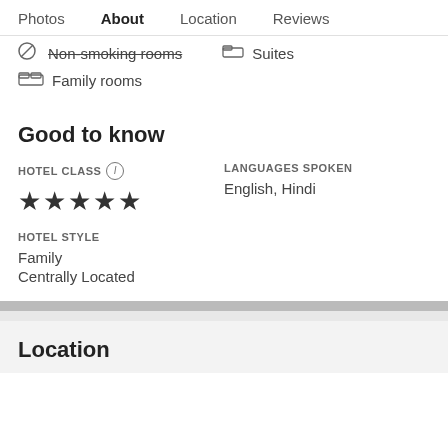Photos  About  Location  Reviews
Non-smoking rooms   Suites
Family rooms
Good to know
HOTEL CLASS
★★★★★
LANGUAGES SPOKEN
English, Hindi
HOTEL STYLE
Family
Centrally Located
Location